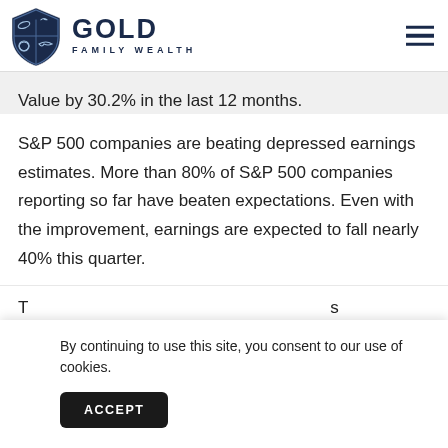GOLD FAMILY WEALTH
Value by 30.2% in the last 12 months.
S&P 500 companies are beating depressed earnings estimates. More than 80% of S&P 500 companies reporting so far have beaten expectations. Even with the improvement, earnings are expected to fall nearly 40% this quarter.
By continuing to use this site, you consent to our use of cookies.